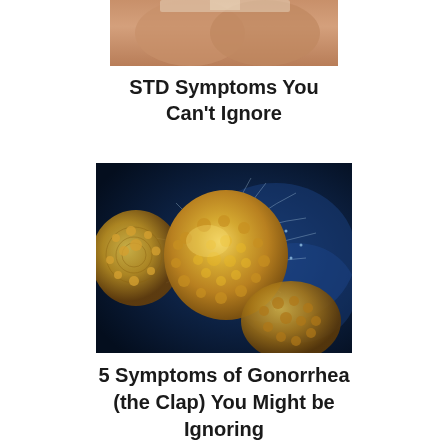[Figure (photo): Partial photo of human legs/body from behind, cropped at top of page]
STD Symptoms You Can’t Ignore
[Figure (photo): Close-up microscopic image of gonorrhea bacteria (Neisseria gonorrhoeae) — golden/yellow spherical bacterial cells with filamentous projections against a dark blue background]
5 Symptoms of Gonorrhea (the Clap) You Might be Ignoring